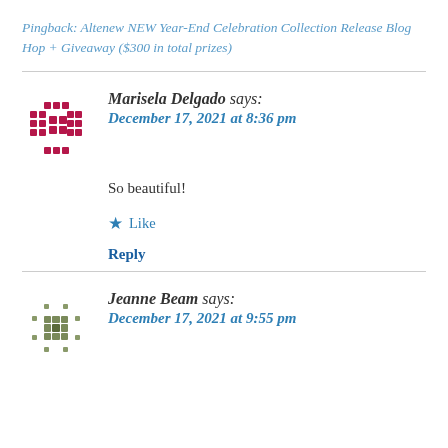Pingback: Altenew NEW Year-End Celebration Collection Release Blog Hop + Giveaway ($300 in total prizes)
Marisela Delgado says:
December 17, 2021 at 8:36 pm
So beautiful!
Like
Reply
Jeanne Beam says:
December 17, 2021 at 9:55 pm